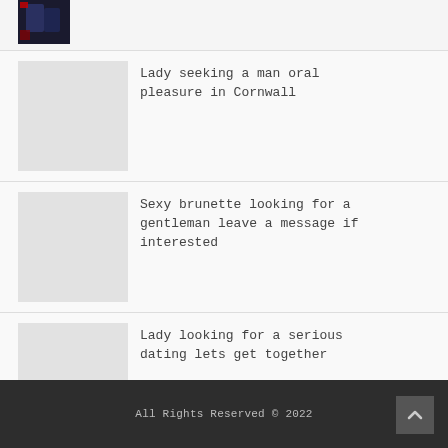[Figure (photo): Small thumbnail photo showing a dark image with figures in blue/dark tones]
Lady seeking a man oral pleasure in Cornwall
Sexy brunette looking for a gentleman leave a message if interested
Lady looking for a serious dating lets get together
All Rights Reserved © 2022